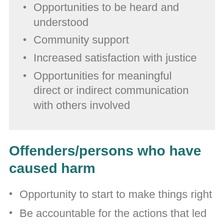Opportunities to be heard and understood
Community support
Increased satisfaction with justice
Opportunities for meaningful direct or indirect communication with others involved
Offenders/persons who have caused harm
Opportunity to start to make things right
Be accountable for the actions that led